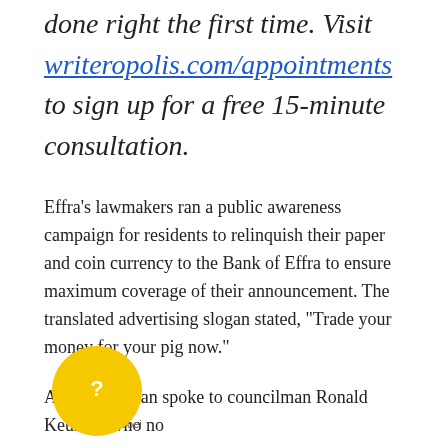done right the first time. Visit writeropolis.com/appointments to sign up for a free 15-minute consultation.
Effra's lawmakers ran a public awareness campaign for residents to relinquish their paper and coin currency to the Bank of Effra to ensure maximum coverage of their announcement. The translated advertising slogan stated, “Trade your money for your pig now.”
Amy Waterman spoke to councilman Ronald Keuning who no…
“The promotional campaign has already had an enormous